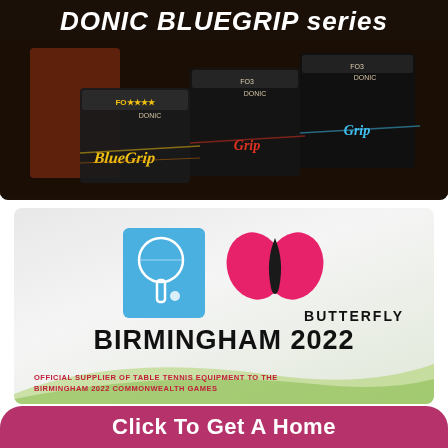[Figure (photo): DONIC BLUEGRIP series product advertisement. Dark background showing multiple DONIC table tennis rubber packages arranged overlapping, with 'BlueGrip' text in yellow, 'Grip' in red and blue.]
DONIC BLUEGRIP series
[Figure (photo): Butterfly table tennis equipment advertisement. Light grey/white background with green swoosh. Shows blue square Butterfly paddle logo icon on left and pink butterfly wing logo on right with BUTTERFLY text. Text reads: BIRMINGHAM 2022, OFFICIAL SUPPLIER OF TABLE TENNIS EQUIPMENT TO THE BIRMINGHAM 2022 COMMONWEALTH GAMES.]
BIRMINGHAM 2022
OFFICIAL SUPPLIER OF TABLE TENNIS EQUIPMENT TO THE BIRMINGHAM 2022 COMMONWEALTH GAMES
Click To Get A Home